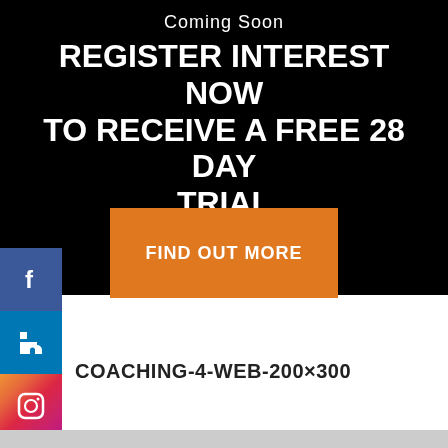Coming Soon
REGISTER INTEREST NOW TO RECEIVE A FREE 28 DAY TRIAL
FIND OUT MORE
[Figure (infographic): Social media share icons bar on left side: Facebook (blue), LinkedIn (blue), Instagram (gradient), Email/mail (gray)]
COACHING-4-WEB-200×300